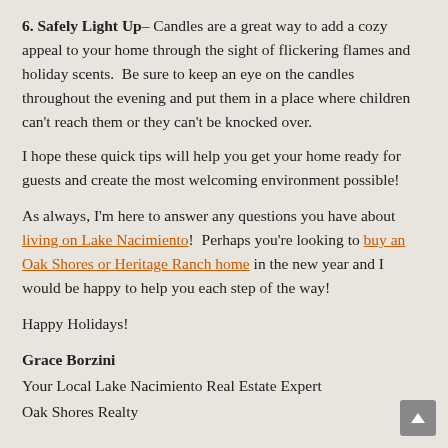6. Safely Light Up– Candles are a great way to add a cozy appeal to your home through the sight of flickering flames and holiday scents.  Be sure to keep an eye on the candles throughout the evening and put them in a place where children can't reach them or they can't be knocked over.
I hope these quick tips will help you get your home ready for guests and create the most welcoming environment possible!
As always, I'm here to answer any questions you have about living on Lake Nacimiento!  Perhaps you're looking to buy an Oak Shores or Heritage Ranch home in the new year and I would be happy to help you each step of the way!
Happy Holidays!
Grace Borzini
Your Local Lake Nacimiento Real Estate Expert
Oak Shores Realty